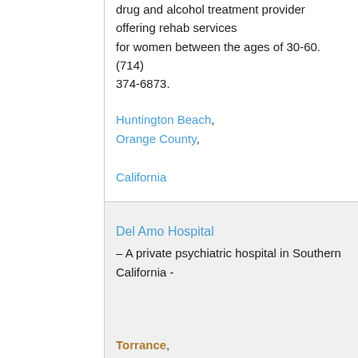drug and alcohol treatment provider offering rehab services for women between the ages of 30-60.  (714) 374-6873.
Huntington Beach, Orange County, California
Del Amo Hospital
– A private psychiatric hospital in Southern California -
Torrance, California